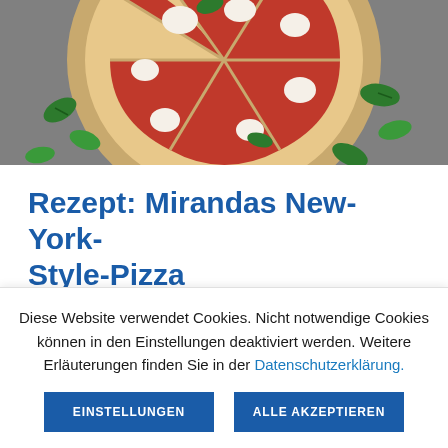[Figure (photo): Top-down view of sliced New York style pizza on a wooden board with basil leaves scattered around, gray stone background]
Rezept: Mirandas New-York-Style-Pizza
Diese Website verwendet Cookies. Nicht notwendige Cookies können in den Einstellungen deaktiviert werden. Weitere Erläuterungen finden Sie in der Datenschutzerklärung.
EINSTELLUNGEN
ALLE AKZEPTIEREN